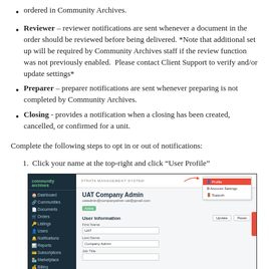ordered in Community Archives.
Reviewer – reviewer notifications are sent whenever a document in the order should be reviewed before being delivered. *Note that additional set up will be required by Community Archives staff if the review function was not previously enabled. Please contact Client Support to verify and/or update settings*
Preparer – preparer notifications are sent whenever preparing is not completed by Community Archives.
Closing - provides a notification when a closing has been created, cancelled, or confirmed for a unit.
Complete the following steps to opt in or out of notifications:
1. Click your name at the top-right and click “User Profile”
[Figure (screenshot): Screenshot of Community Archives web application showing the UAT Company Admin user profile page with a dropdown menu highlighted at the top-right showing Profile option selected, and User Information form with First Name, Last Name, and Job Title fields visible.]